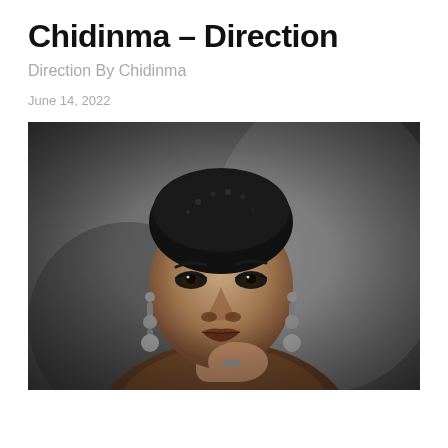Chidinma – Direction
Direction By Chidinma
June 14, 2022
[Figure (photo): Black and white portrait photograph of a young woman with short natural hair, wearing dangling beaded earrings, looking directly at the camera with an intense expression, bare shoulders, hand near chin.]